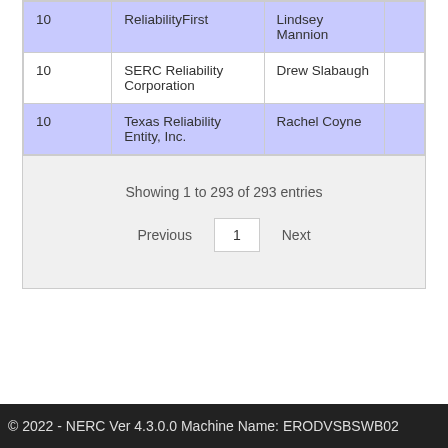|  | Organization | Name |  |
| --- | --- | --- | --- |
| 10 | ReliabilityFirst | Lindsey Mannion |  |
| 10 | SERC Reliability Corporation | Drew Slabaugh |  |
| 10 | Texas Reliability Entity, Inc. | Rachel Coyne |  |
Showing 1 to 293 of 293 entries
© 2022 - NERC Ver 4.3.0.0 Machine Name: ERODVSBSWB02